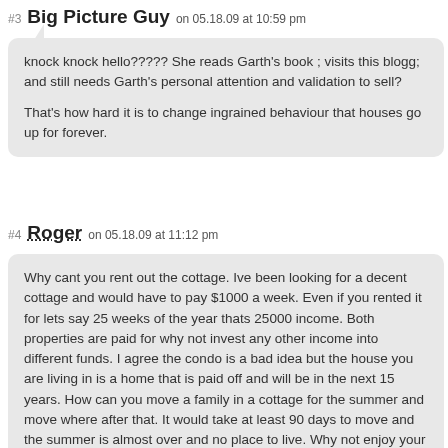#3 Big Picture Guy on 05.18.09 at 10:59 pm
knock knock hello????? She reads Garth's book ; visits this blogg; and still needs Garth's personal attention and validation to sell?

That's how hard it is to change ingrained behaviour that houses go up for forever.
#4 Roger on 05.18.09 at 11:12 pm
Why cant you rent out the cottage. Ive been looking for a decent cottage and would have to pay $1000 a week. Even if you rented it for lets say 25 weeks of the year thats 25000 income. Both properties are paid for why not invest any other income into different funds. I agree the condo is a bad idea but the house you are living in is a home that is paid off and will be in the next 15 years. How can you move a family in a cottage for the summer and move where after that. It would take at least 90 days to move and the summer is almost over and no place to live. Why not enjoy your principal residence for the next 10-15 years and make the cottage into an income property renting it out and using that money to pay for taxes, insurance,